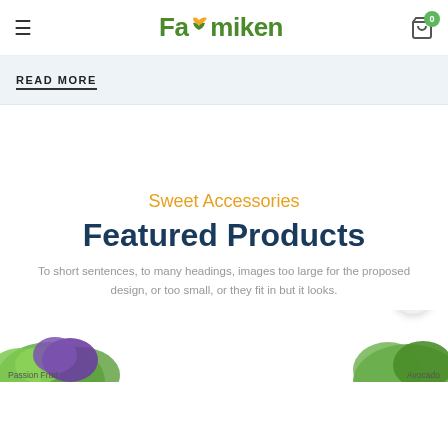Farmiken — READ MORE
READ MORE
Sweet Accessories
Featured Products
To short sentences, to many headings, images too large for the proposed design, or too small, or they fit in but it looks.
[Figure (photo): Bottom strip showing partial product images: Passion Fruit on the left, Avocado on the right, with green vegetables visible]